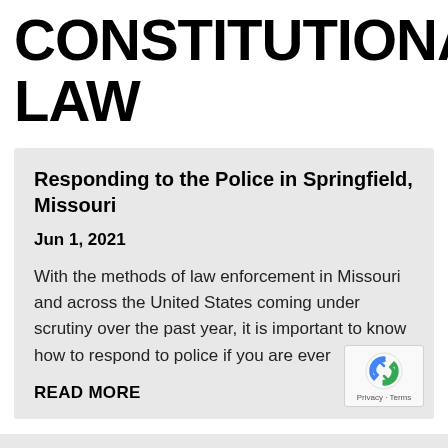CONSTITUTIONAL LAW
Responding to the Police in Springfield, Missouri
Jun 1, 2021
With the methods of law enforcement in Missouri and across the United States coming under scrutiny over the past year, it is important to know how to respond to police if you are ever
READ MORE